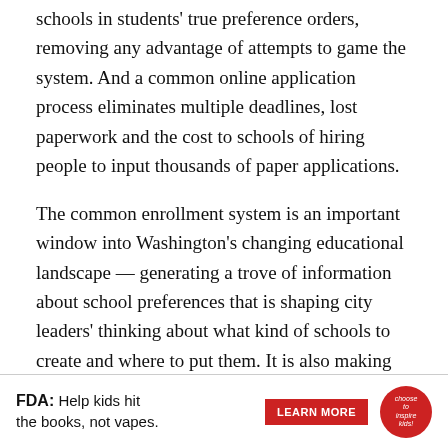schools in students' true preference orders, removing any advantage of attempts to game the system. And a common online application process eliminates multiple deadlines, lost paperwork and the cost to schools of hiring people to input thousands of paper applications.
The common enrollment system is an important window into Washington's changing educational landscape — generating a trove of information about school preferences that is shaping city leaders' thinking about what kind of schools to create and where to put them. It is also making public education more transparent for families, and bringing new competitive energy to both traditional public schools and charters, even as it has led the two types of schools to work together in mutually beneficial ways. And yet, for all its success, My School DC has suggested that
[Figure (other): FDA advertisement banner: 'FDA: Help kids hit the books, not vapes.' with a red LEARN MORE button and a circular logo on the right.]